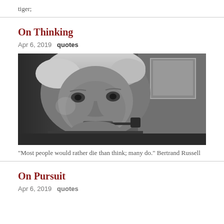tiger;
On Thinking
Apr 6, 2019   quotes
[Figure (photo): Black and white portrait photograph of an elderly man with white hair smoking a pipe, looking thoughtful. A framed picture is visible in the background.]
"Most people would rather die than think; many do." Bertrand Russell
On Pursuit
Apr 6, 2019   quotes